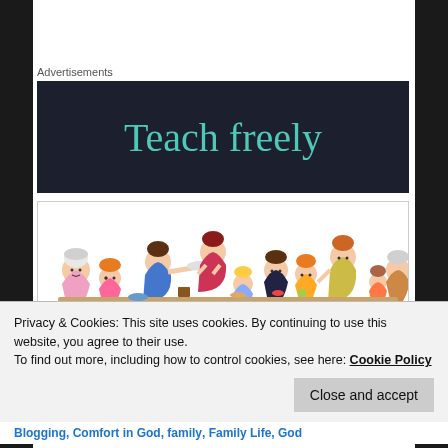Advertisements
[Figure (other): Dark navy banner advertisement with teal/turquoise text reading 'Teach freely']
[Figure (illustration): Cartoon illustration of a group of people at a table, including children and adults, sharing a meal or gathering. A person is handing a dish to others around a table with various people seated and standing.]
Privacy & Cookies: This site uses cookies. By continuing to use this website, you agree to their use.
To find out more, including how to control cookies, see here: Cookie Policy
Close and accept
Blogging, Comfort in God, family, Family Life, God